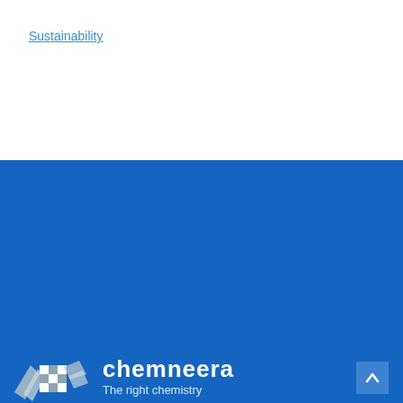Sustainability
[Figure (logo): Chemneera logo with checkered flag graphic and tagline 'The right chemistry']
This website uses cookies to ensure you get the best experience. Learn More
Accept Cookies
Offices: Australia - Melbourne (VIC) | USA - Pittsburgh (PA) | Email info@chemneera.com | Privacy Policy | Terms & Conditions
Site by: Flux Creative